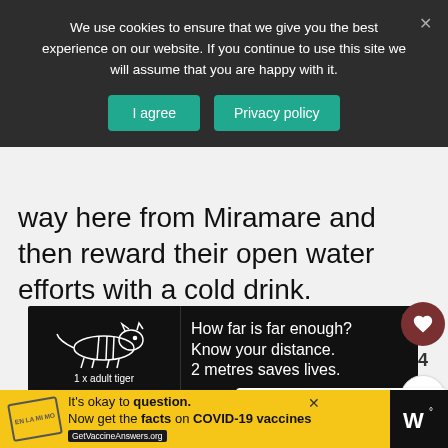We use cookies to ensure that we give you the best experience on our website. If you continue to use this site we will assume that you are happy with it.
way here from Miramare and then reward their open water efforts with a cold drink.
[Figure (infographic): Tiger ad banner: silhouette of a tiger with text 'How far is far enough? Know your distance. 2 metres saves lives.' and label '1 x adult tiger']
WHAT'S NEXT → The best beaches nea...
[Figure (infographic): Bottom banner ad: yellow background with stamp graphic, text 'It’s okay to question. Now get the facts on COVID-19 vaccines GetVaccineAnswers.org']